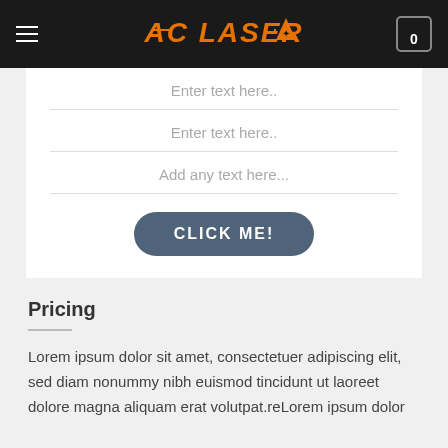AC LASER
Enter text here..
Enter text here..
Add any text here...
CLICK ME!
Pricing
Lorem ipsum dolor sit amet, consectetuer adipiscing elit, sed diam nonummy nibh euismod tincidunt ut laoreet dolore magna aliquam erat volutpat.reLorem ipsum dolor